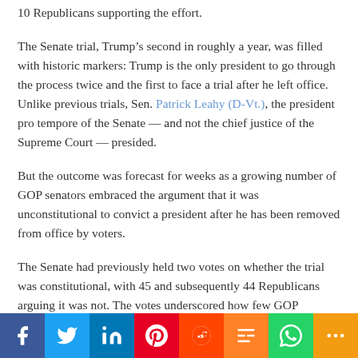10 Republicans supporting the effort.
The Senate trial, Trump’s second in roughly a year, was filled with historic markers: Trump is the only president to go through the process twice and the first to face a trial after he left office. Unlike previous trials, Sen. Patrick Leahy (D-Vt.), the president pro tempore of the Senate — and not the chief justice of the Supreme Court — presided.
But the outcome was forecast for weeks as a growing number of GOP senators embraced the argument that it was unconstitutional to convict a president after he has been removed from office by voters.
The Senate had previously held two votes on whether the trial was constitutional, with 45 and subsequently 44 Republicans arguing it was not. The votes underscored how few GOP senators were open to convicting Trump even as the party raged against him following the Jan. 6 attack on the Capitol.
[Figure (infographic): Social media sharing bar with icons for Facebook, Twitter, LinkedIn, Pinterest, Reddit, Mix, WhatsApp, and More]